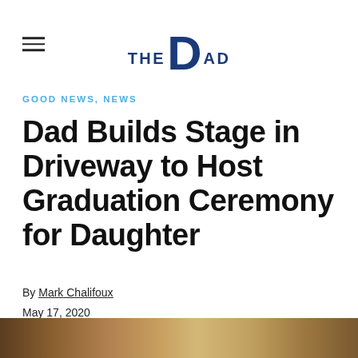THE DAD
GOOD NEWS, NEWS
Dad Builds Stage in Driveway to Host Graduation Ceremony for Daughter
By Mark Chalifoux
May 17, 2020
SHARE
[Figure (photo): Photo strip at the bottom of the page showing a partial image]